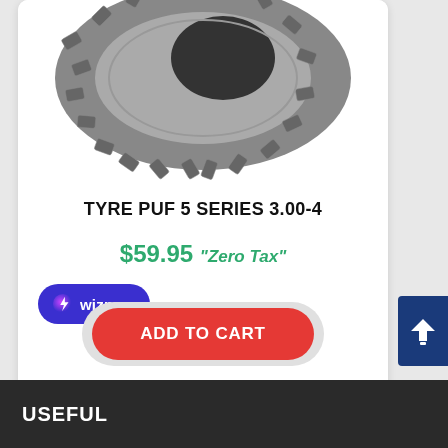[Figure (photo): A grey truck/vehicle tyre shown from above at an angle, displaying the tread pattern with diamond/block shapes.]
TYRE PUF 5 SERIES 3.00-4
$59.95 "Zero Tax"
[Figure (logo): Wizpay payment button - dark blue rounded pill with stylized lightning bolt icon and 'wizpay' text in white]
ADD TO CART
USEFUL